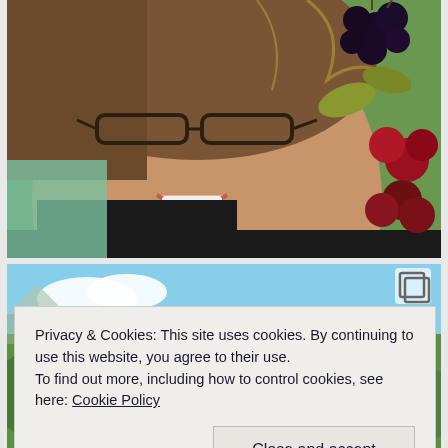[Figure (photo): A woman smiling close to camera, wearing glasses and a black top with green mesh bag/vest, outdoors near blackberry bushes with ripe black and red berries visible.]
[Figure (photo): Partial view of a second photo below, showing green outdoor scenery with blue sky, partially obscured by cookie consent banner. A copy/duplicate icon is visible in the upper right of the photo.]
Privacy & Cookies: This site uses cookies. By continuing to use this website, you agree to their use.
To find out more, including how to control cookies, see here: Cookie Policy
Close and accept